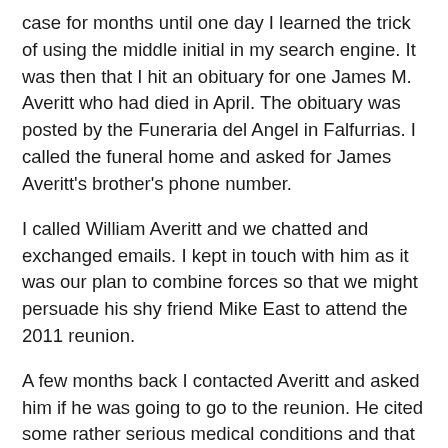case for months until one day I learned the trick of using the middle initial in my search engine. It was then that I hit an obituary for one James M. Averitt who had died in April. The obituary was posted by the Funeraria del Angel in Falfurrias. I called the funeral home and asked for James Averitt's brother's phone number.
I called William Averitt and we chatted and exchanged emails. I kept in touch with him as it was our plan to combine forces so that we might persuade his shy friend Mike East to attend the 2011 reunion.
A few months back I contacted Averitt and asked him if he was going to go to the reunion. He cited some rather serious medical conditions and that he had to have an operation. He told me that he might postpone that operation and come to the reunion.
William Averitt did come to the reunion with his wife and they had a warm visit with Mike East and Letty García.
On the last day of the reunion, the brunch after Mass, I